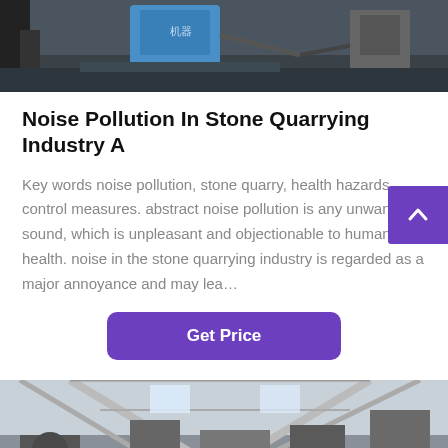[Figure (photo): Industrial quarrying or factory equipment scene with blue machinery visible, dark industrial setting]
Noise Pollution In Stone Quarrying Industry A
Key words noise pollution, stone quarry, health hazards, control measures. abstract noise pollution is any unwanted sound, which is unpleasant and objectionable to human health. noise in the stone quarrying industry is regarded as a major annoyance and may lea…
[Figure (photo): Interior of industrial factory/quarry building with metal frame structure, machinery and equipment visible]
Leave Message   Chat Online